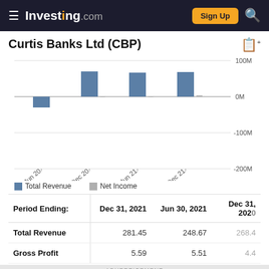Investing.com — Sign Up
Curtis Banks Ltd (CBP)
[Figure (grouped-bar-chart): Curtis Banks Ltd (CBP) — Total Revenue and Net Income]
| Period Ending: | Dec 31, 2021 | Jun 30, 2021 | Dec 31, 2020 |
| --- | --- | --- | --- |
| Total Revenue | 281.45 | 248.67 | 268.4 |
| Gross Profit | 5.59 | 5.51 | 4.4 |
ADVERTISEMENT
[Figure (infographic): Try AI-Guided Investing Only $7/mo. magnifi — Advisory services are offered through Magnifi LLC, an SEC registered investment advisor]